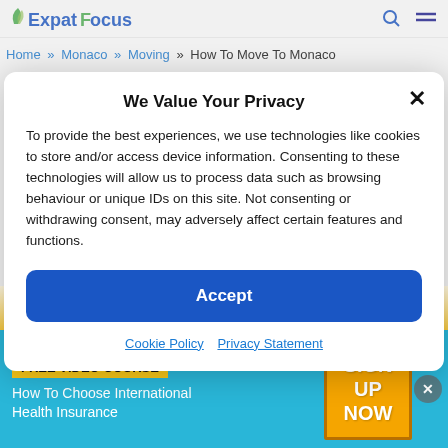ExpatFocus (logo)
Home » Monaco » Moving » How To Move To Monaco
We Value Your Privacy
To provide the best experiences, we use technologies like cookies to store and/or access device information. Consenting to these technologies will allow us to process data such as browsing behaviour or unique IDs on this site. Not consenting or withdrawing consent, may adversely affect certain features and functions.
Accept
Cookie Policy   Privacy Statement
FREE VIDEO COURSE
How To Choose International Health Insurance
SIGN UP NOW